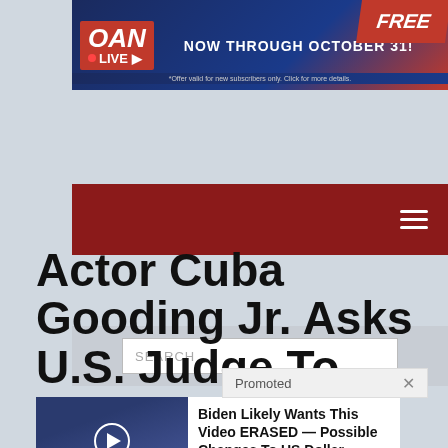[Figure (screenshot): OAN LIVE banner advertisement with red and blue background, text: NOW THROUGH OCTOBER 31! FREE]
[Figure (screenshot): Dark red navigation bar with hamburger menu icon]
[Figure (screenshot): Search bar with placeholder text SEARCH ...]
Actor Cuba Gooding Jr. Asks U.S. Judge To Throw...
[Figure (screenshot): Promoted ad overlay with X close button and two sponsored content cards: 1) Biden Likely Wants This Video ERASED — Possible Changes To US Dollar Revealed, 2) A Teaspoon On An Empty Stomach Burns 12 Lbs Of Fat A Week Safely!]